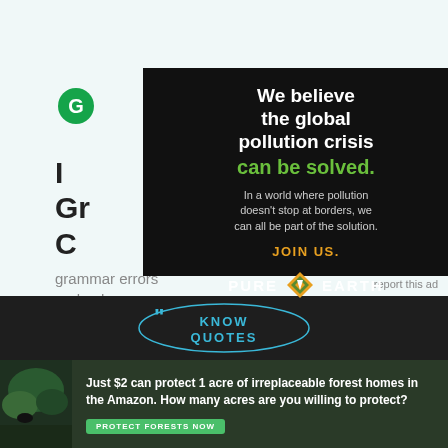[Figure (screenshot): Grammarly green circle logo icon on light teal background]
I
Gr
C
grammar errors
and enhance
[Figure (infographic): Pure Earth advertisement with black background. Text reads: We believe the global pollution crisis can be solved. In a world where pollution doesn't stop at borders, we can all be part of the solution. JOIN US. Pure Earth logo with diamond icon.]
[Figure (photo): Person in white hard hat and grey vest planting a small tree sapling in dry soil]
report this ad
[Figure (logo): Know Quotes logo in teal text with quotation mark icon on dark background]
[Figure (infographic): Forest conservation advertisement: Just $2 can protect 1 acre of irreplaceable forest homes in the Amazon. How many acres are you willing to protect? PROTECT FORESTS NOW button]